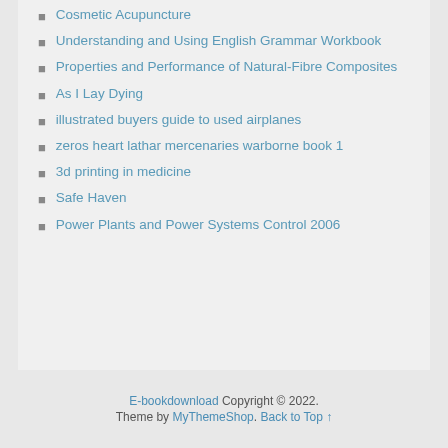Cosmetic Acupuncture
Understanding and Using English Grammar Workbook
Properties and Performance of Natural-Fibre Composites
As I Lay Dying
illustrated buyers guide to used airplanes
zeros heart lathar mercenaries warborne book 1
3d printing in medicine
Safe Haven
Power Plants and Power Systems Control 2006
E-bookdownload Copyright © 2022. Theme by MyThemeShop. Back to Top ↑